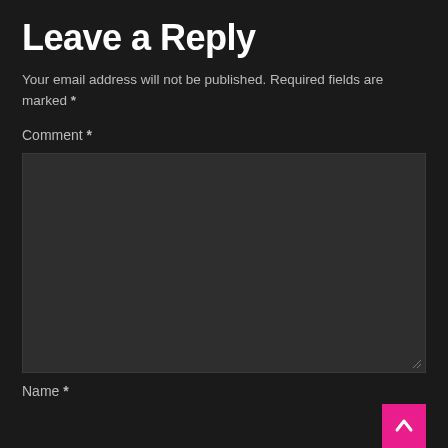Leave a Reply
Your email address will not be published. Required fields are marked *
Comment *
[Figure (other): Empty comment textarea input box with dark background and resize handle in bottom right corner]
Name *
[Figure (other): Pink/magenta button with upward-pointing chevron arrow icon in bottom right corner]